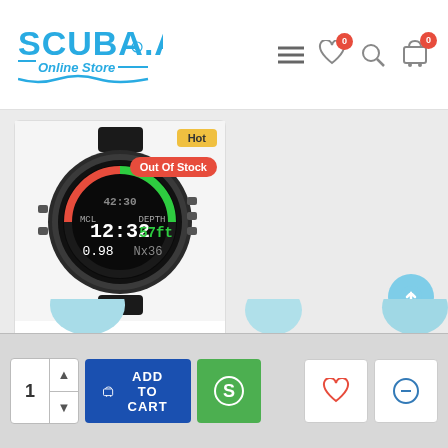[Figure (logo): SCUBA.AE Online Store logo in blue]
[Figure (screenshot): Navigation icons: hamburger menu, heart (0), search, cart (0)]
[Figure (photo): Garmin Descent Mk1 dive watch product image with Hot badge and Out Of Stock badge]
Garmin Descent Mk1 - Tita...
AED5,985
[Figure (screenshot): Add to Cart button, heart icon, compare icon]
[Figure (screenshot): Scroll to top button (light blue circle with up arrow)]
[Figure (screenshot): Bottom bar: quantity selector (1), ADD TO CART button, dollar/S button, heart button, compare button]